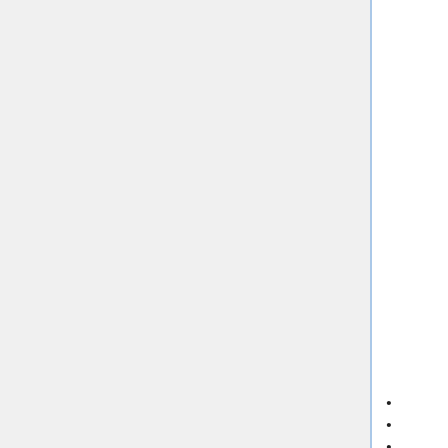discuss and collaborate with their pairs. Here is the link you need to access in order to register for this "class": piazza.com/wisc/fall2018/putnam2018 . Our intervention on Piazza will be minimal (some of the instructors will, from time to time, visit the piazza questions and provide some help). Also, based on your requests, we have decided to structure our meetings in a way that will provide more insight on methods and certain tricks that are very often used in this type of math competitions. The book we will mainly use as a guide in preparing our meetings is: "Putnam and Beyond" by Razvan Gelca and Titu Andreescu.
February 6: The basics by Botong
February 13: Botong
February 20: Alex Ordered Sets